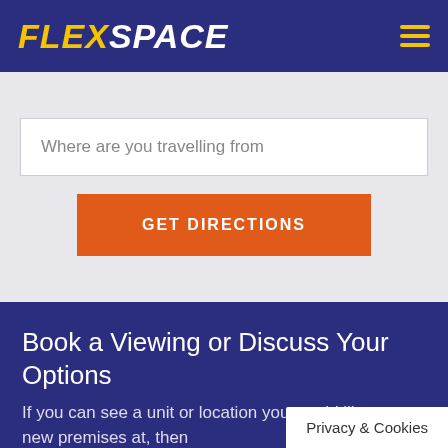FLEXSPACE
Where are you travelling from
GET DIRECTIONS
Book a Viewing or Discuss Your Options
If you can see a unit or location you would like your new premises at, then plea… Or if you just want to talk through wh…
Privacy & Cookies